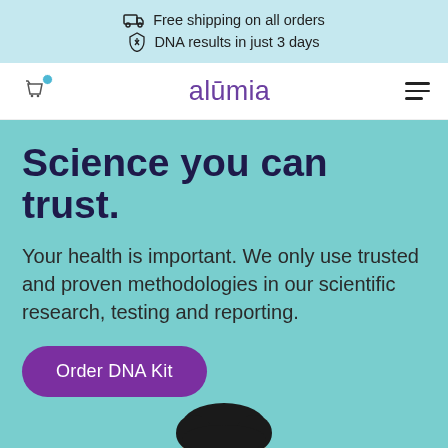Free shipping on all orders
DNA results in just 3 days
alumia
Science you can trust.
Your health is important. We only use trusted and proven methodologies in our scientific research, testing and reporting.
Order DNA Kit
[Figure (photo): Bottom portion of a person's head and shoulders visible at the bottom of a teal/turquoise background hero section]